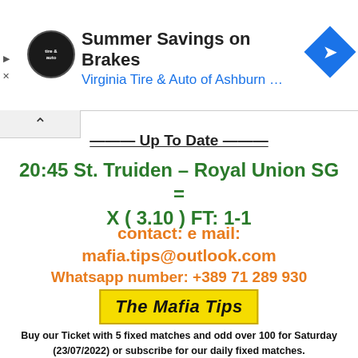[Figure (screenshot): Advertisement banner: Virginia Tire & Auto of Ashburn with logo, navigation icon, play/close controls]
20:45 St. Truiden – Royal Union SG = X ( 3.10 ) FT: 1-1
contact: e mail:
mafia.tips@outlook.com
Whatsapp number: +389 71 289 930
[Figure (logo): The Mafia Tips logo on yellow background]
Buy our Ticket with 5 fixed matches and odd over 100 for Saturday (23/07/2022) or subscribe for our daily fixed matches.